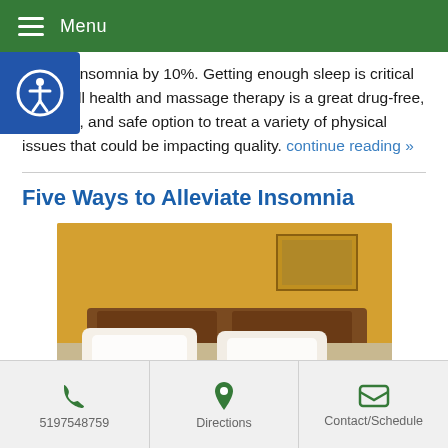Menu
chronic insomnia by 10%. Getting enough sleep is critical to overall health and massage therapy is a great drug-free, effective, and safe option to treat a variety of physical issues that could be impacting quality. continue reading »
Five Ways to Alleviate Insomnia
[Figure (photo): A bedroom scene with a bed, pillows draped in white linens, warm yellow ambient lighting, and artwork visible on the wall in the background.]
5197548759 | Directions | Contact/Schedule